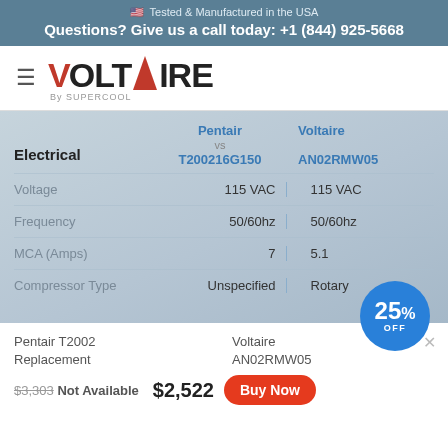🇺🇸 Tested & Manufactured in the USA
Questions? Give us a call today: +1 (844) 925-5668
[Figure (logo): Voltaire by Supercool logo with hamburger menu icon]
| Electrical | Pentair T200216G150 | vs | Voltaire AN02RMW05 |
| --- | --- | --- | --- |
| Voltage | 115 VAC |  | 115 VAC |
| Frequency | 50/60hz |  | 50/60hz |
| MCA (Amps) | 7 |  | 5.1 |
| Compressor Type | Unspecified |  | Rotary |
[Figure (infographic): 25% OFF discount badge circle]
Pentair T2002 Replacement
Voltaire AN02RMW05
$3,303 Not Available   $2,522   Buy Now